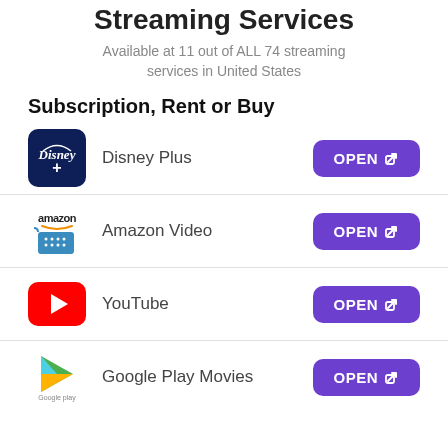Streaming Services
Available at 11 out of ALL 74 streaming services in United States
Subscription, Rent or Buy
Disney Plus — OPEN
Amazon Video — OPEN
YouTube — OPEN
Google Play Movies — OPEN